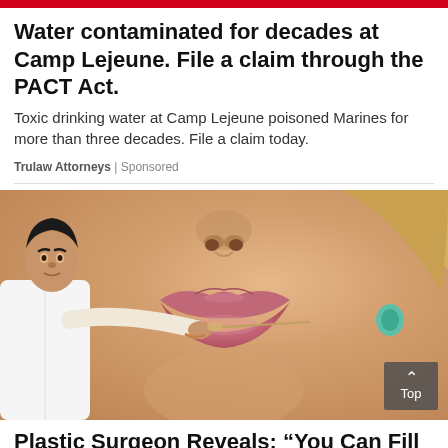Water contaminated for decades at Camp Lejeune. File a claim through the PACT Act.
Toxic drinking water at Camp Lejeune poisoned Marines for more than three decades. File a claim today.
Trulaw Attorneys | Sponsored
[Figure (photo): Close-up photo of a woman's face (lips and lower nose) with a doctor in a white coat appearing to perform a cosmetic injection near her lips]
Plastic Surgeon Reveals: “You Can Fill In